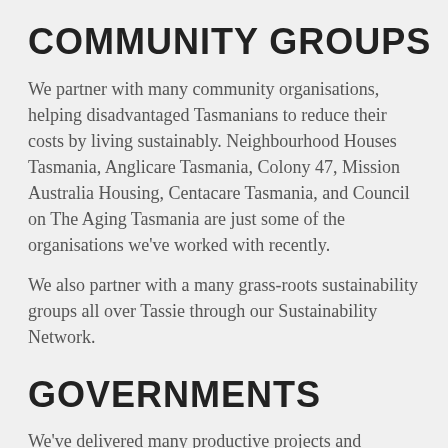COMMUNITY GROUPS
We partner with many community organisations, helping disadvantaged Tasmanians to reduce their costs by living sustainably. Neighbourhood Houses Tasmania, Anglicare Tasmania, Colony 47, Mission Australia Housing, Centacare Tasmania, and Council on The Aging Tasmania are just some of the organisations we've worked with recently.
We also partner with a many grass-roots sustainability groups all over Tassie through our Sustainability Network.
GOVERNMENTS
We've delivered many productive projects and services on behalf of Commonwealth and State...